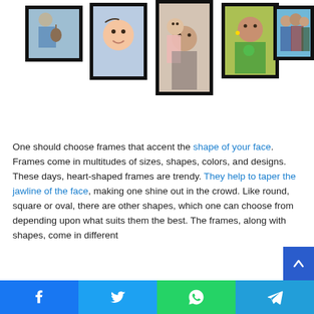[Figure (photo): Collage of five black-framed photos: person playing guitar, baby, mother with child, woman in green sari, and family group]
One should choose frames that accent the shape of your face. Frames come in multitudes of sizes, shapes, colors, and designs. These days, heart-shaped frames are trendy. They help to taper the jawline of the face, making one shine out in the crowd. Like round, square or oval, there are other shapes, which one can choose from depending upon what suits them the best. The frames, along with shapes, come in different
[Figure (infographic): Social media sharing bar with Facebook, Twitter, WhatsApp, and Telegram buttons at bottom of page]